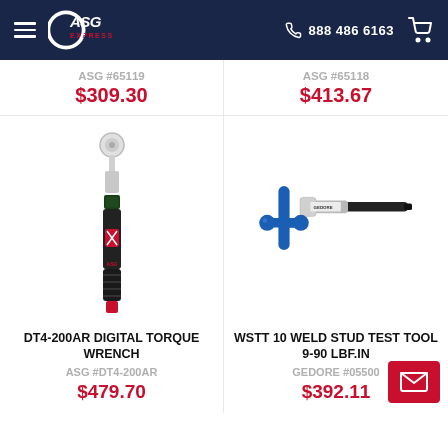ASG Express — 888 486 6163
ASG #65119
$309.30
ASG #65118
$413.67
[Figure (photo): DT4-200AR Digital Torque Wrench — black and red slim electronic torque wrench with digital display]
[Figure (photo): WSTT 10 Weld Stud Test Tool — blue and silver T-bar stud tool with black handle extending right]
DT4-200AR DIGITAL TORQUE WRENCH
WSTT 10 WELD STUD TEST TOOL 9-90 LBF.IN
ASG #DT4-200AR
GEDORE #05500
$479.70
$392.11